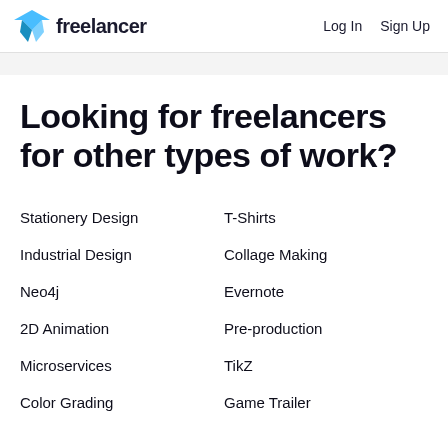freelancer  Log In  Sign Up
Looking for freelancers for other types of work?
Stationery Design
T-Shirts
Industrial Design
Collage Making
Neo4j
Evernote
2D Animation
Pre-production
Microservices
TikZ
Color Grading
Game Trailer